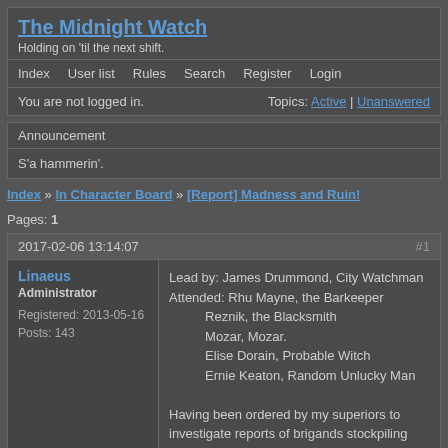The Midnight Watch
Holding on 'til the next shift.
Index   User list   Rules   Search   Register   Login
You are not logged in.   Topics: Active | Unanswered
Announcement
S'a hammerin'.
Index » In Character Board » [Report] Madness and Ruin!
Pages: 1
2017-02-06 13:14:07    #1
Linaeus
Administrator
Registered: 2013-05-16
Posts: 143
Lead by: James Drummond, City Watchman
Attended: Rhu Mayne, the Barkeeper
         Reznik, the Blacksmith
         Mozar, Mozar.
         Elise Dorain, Probable Witch
         Ernie Keaton, Random Unlucky Man

Having been ordered by my superiors to investigate reports of brigands stockpiling blackpowder to the south, I gathered up a small group of concerned citizens and set out to have a look. We came across a